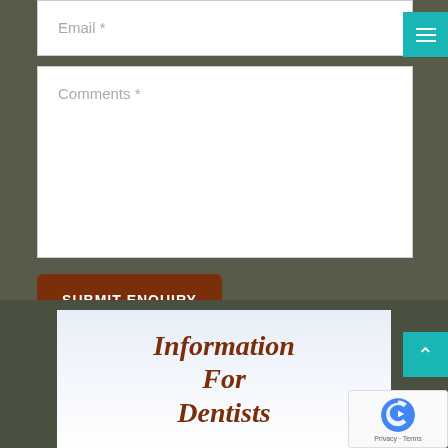Email *
Comments *
SUBMIT ENQUIRY
Information For Dentists
[Figure (other): reCAPTCHA verification badge with Google logo and Privacy - Terms links]